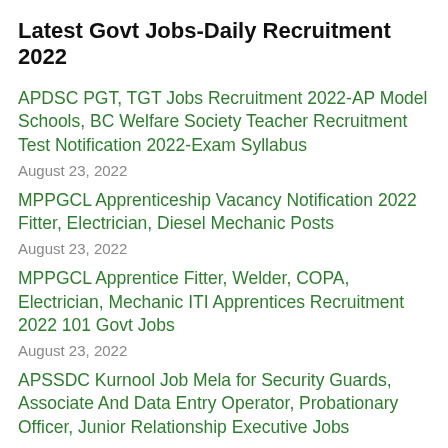Latest Govt Jobs-Daily Recruitment 2022
APDSC PGT, TGT Jobs Recruitment 2022-AP Model Schools, BC Welfare Society Teacher Recruitment Test Notification 2022-Exam Syllabus
August 23, 2022
MPPGCL Apprenticeship Vacancy Notification 2022 Fitter, Electrician, Diesel Mechanic Posts
August 23, 2022
MPPGCL Apprentice Fitter, Welder, COPA, Electrician, Mechanic ITI Apprentices Recruitment 2022 101 Govt Jobs
August 23, 2022
APSSDC Kurnool Job Mela for Security Guards, Associate And Data Entry Operator, Probationary Officer, Junior Relationship Executive Jobs
August 22, 2022
APSSDC Anakayalli District Job Mela Trainee Recru...